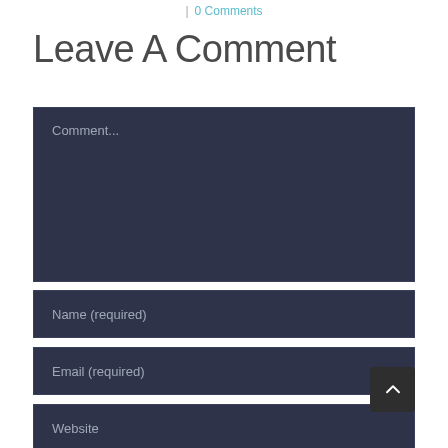| 0 Comments
Leave A Comment
Comment...
Name (required)
Email (required)
Website